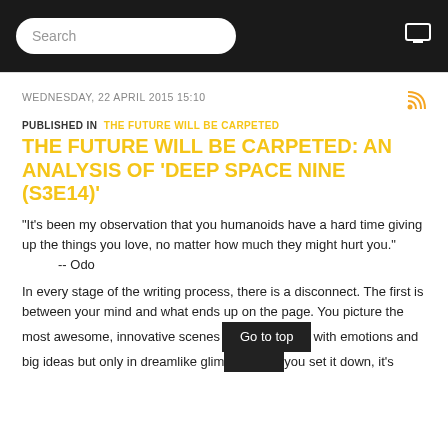Search
WEDNESDAY, 22 APRIL 2015 15:10
PUBLISHED IN  THE FUTURE WILL BE CARPETED
THE FUTURE WILL BE CARPETED: AN ANALYSIS OF 'DEEP SPACE NINE (S3E14)'
“It’s been my observation that you humanoids have a hard time giving up the things you love, no matter how much they might hurt you.”
    -- Odo
In every stage of the writing process, there is a disconnect. The first is between your mind and what ends up on the page. You picture the most awesome, innovative scenes with emotions and big ideas but only in dreamlike glim you set it down, it’s